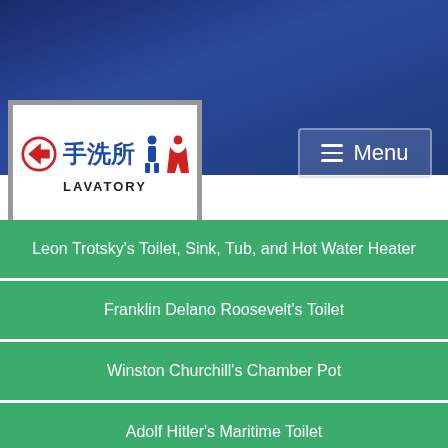[Figure (photo): Japanese lavatory/restroom sign with left arrow, kanji characters 手洗所, male and female restroom icons, and the word LAVATORY below]
Menu
Leon Trotsky's Toilet, Sink, Tub, and Hot Water Heater
Franklin Delano Roosevelt's Toilet
Winston Churchill's Chamber Pot
Adolf Hitler's Maritime Toilet
Harry Truman's Airborne Toilets
Dwight Eisenhower's Toilets